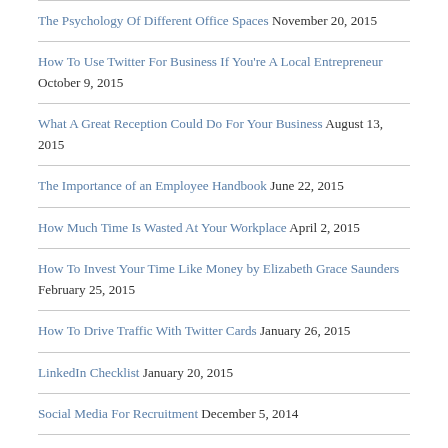The Psychology Of Different Office Spaces November 20, 2015
How To Use Twitter For Business If You're A Local Entrepreneur October 9, 2015
What A Great Reception Could Do For Your Business August 13, 2015
The Importance of an Employee Handbook June 22, 2015
How Much Time Is Wasted At Your Workplace April 2, 2015
How To Invest Your Time Like Money by Elizabeth Grace Saunders February 25, 2015
How To Drive Traffic With Twitter Cards January 26, 2015
LinkedIn Checklist January 20, 2015
Social Media For Recruitment December 5, 2014
Troubleshooting Major Storage Issues To Achieve Business Growth November 29, 2014
How Smart Storage Is Empowering Entrepreneurs November 17, 2014
The Best Length For Tweets, Facebook Posts & YouTube Videos October 25,